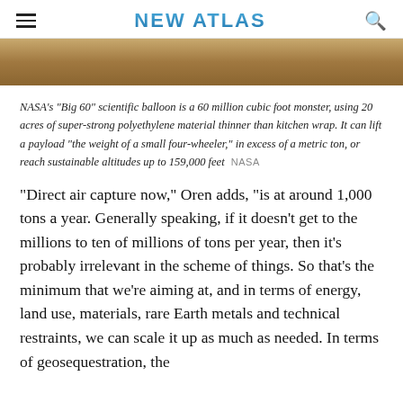NEW ATLAS
[Figure (photo): Close-up photograph of a wooden or sandy textured surface, warm brown tones.]
NASA's "Big 60" scientific balloon is a 60 million cubic foot monster, using 20 acres of super-strong polyethylene material thinner than kitchen wrap. It can lift a payload "the weight of a small four-wheeler," in excess of a metric ton, or reach sustainable altitudes up to 159,000 feet  NASA
"Direct air capture now," Oren adds, "is at around 1,000 tons a year. Generally speaking, if it doesn't get to the millions to ten of millions of tons per year, then it's probably irrelevant in the scheme of things. So that's the minimum that we're aiming at, and in terms of energy, land use, materials, rare Earth metals and technical restraints, we can scale it up as much as needed. In terms of geosequestration, the